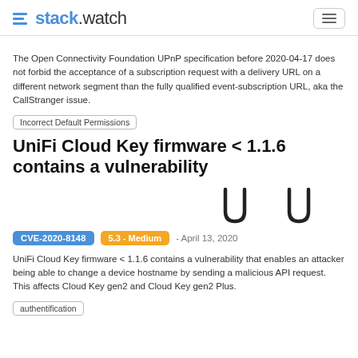stack.watch
The Open Connectivity Foundation UPnP specification before 2020-04-17 does not forbid the acceptance of a subscription request with a delivery URL on a different network segment than the fully qualified event-subscription URL, aka the CallStranger issue.
Incorrect Default Permissions
UniFi Cloud Key firmware < 1.1.6 contains a vulnerability
[Figure (logo): Two U-shaped icons (Ubiquiti logo style) rendered as outlines]
CVE-2020-8148  5.3 - Medium  - April 13, 2020
UniFi Cloud Key firmware < 1.1.6 contains a vulnerability that enables an attacker being able to change a device hostname by sending a malicious API request. This affects Cloud Key gen2 and Cloud Key gen2 Plus.
authentification